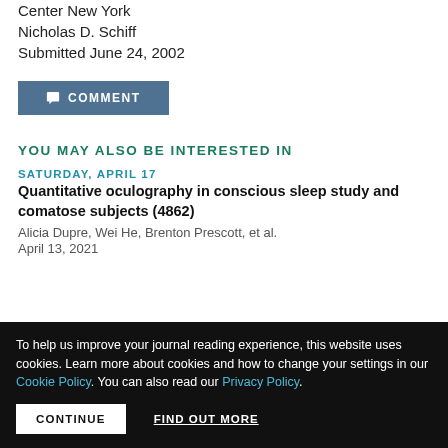Center New York
Nicholas D. Schiff
Submitted June 24, 2002
COMMENT
YOU MAY ALSO BE INTERESTED IN
SATURDAY, APRIL 17
Quantitative oculography in conscious sleep study and comatose subjects (4862)
Alicia Dupre, Wei He, Brenton Prescott, et al.
April 13, 2021
To help us improve your journal reading experience, this website uses cookies. Learn more about cookies and how to change your settings in our Cookie Policy. You can also read our Privacy Policy.
CONTINUE   FIND OUT MORE